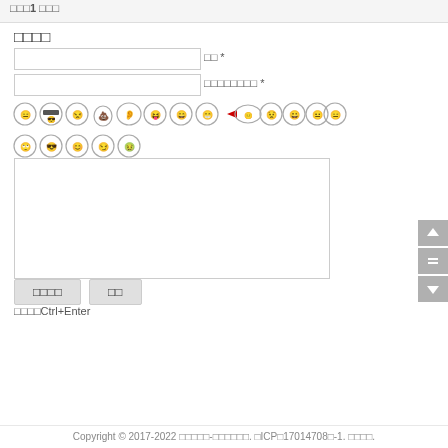□□□1 □□□
□□□□
□□ *
□□□□□□□□ *
[Figure (illustration): Two rows of emoji/emoticon faces used for comment input]
□□□□Ctrl+Enter
Copyright © 2017-2022 □□□□□-□□□□□□. □ICP□17014708□-1. □□□□.